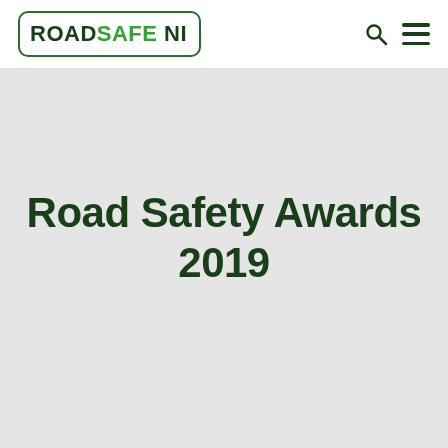ROADSAFE NI
Road Safety Awards 2019